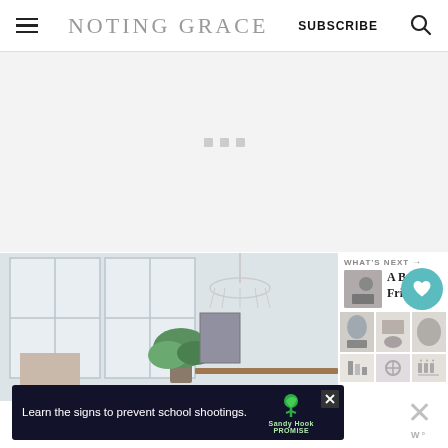NOTING GRACE | SUBSCRIBE
[Figure (screenshot): Loading placeholder area with three small gray squares in a row on a light gray background]
154
[Figure (photo): Interior home photo showing white-framed windows, green plant, and a chandelier over a dining table with place settings]
WHAT'S NEXT → A Budget Friendly...
[Figure (photo): Thumbnail grid of table setting images]
Learn the signs to prevent school shootings. Sandy Hook PROMISE